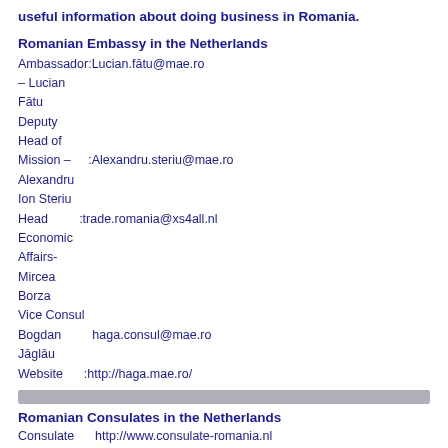useful information about doing business in Romania.
Romanian Embassy in the Netherlands
Ambassador:Lucian.fātu@mae.ro
– Lucian
Fātu
Deputy
Head of
Mission –     :Alexandru.steriu@mae.ro
Alexandru
Ion Steriu
Head          :trade.romania@xs4all.nl
Economic
Affairs-
Mircea
Borza
Vice Consul
Bogdan        haga.consul@mae.ro
Jāglāu
Website       :http://haga.mae.ro/
Romanian Consulates in the Netherlands
Consulate     http://www.consulate-romania.nl